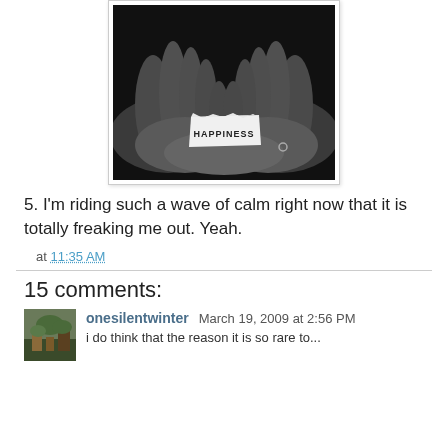[Figure (photo): Black and white photo of two hands cupped together holding a small torn piece of paper with the word HAPPINESS written on it]
5. I'm riding such a wave of calm right now that it is totally freaking me out. Yeah.
at 11:35 AM
15 comments:
onesilentwinter March 19, 2009 at 2:56 PM